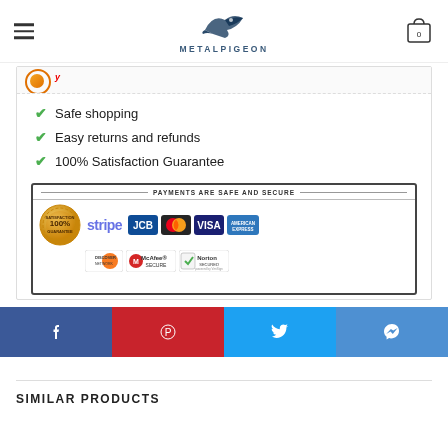[Figure (logo): MetalPigeon logo with bird icon and text METALPIGEON]
[Figure (infographic): Partial banner strip with orange shield icon and red text partially visible]
Safe shopping
Easy returns and refunds
100% Satisfaction Guarantee
[Figure (infographic): Payments are safe and secure badge with: 100% Satisfaction Guarantee gold seal, Stripe logo, JCB, Mastercard, Visa, American Express, Discover Network, McAfee Secure, Norton Secured powered by VeriSign]
[Figure (infographic): Social share buttons: Facebook, Pinterest, Twitter, Messenger]
SIMILAR PRODUCTS